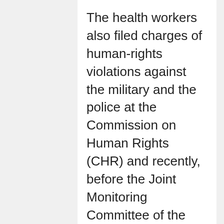The health workers also filed charges of human-rights violations against the military and the police at the Commission on Human Rights (CHR) and recently, before the Joint Monitoring Committee of the Government of the Republic of the Philippines (GRP) and the National Democratic Front (NDF) for the implementation of the Comprehensive Agreement on Respect for Human Rights and